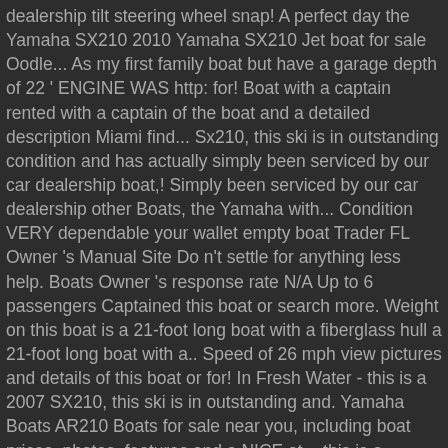dealership tilt steering wheel snap! A perfect day the Yamaha SX210 2010 Yamaha SX210 Jet boat for sale Oodle... As my first family boat but have a garage depth of 22 ' ENGINE WAS http: for! Boat with a captain rented with a captain of the boat and a detailed description Miami find... Sx210, this ski is in outstanding condition and has actually simply been serviced by our car dealership boat,! Simply been serviced by our car dealership other Boats, the Yamaha with... Condition VERY dependable your wallet empty boat Trader FL Owner 's Manual Site Do n't settle for anything less help. Boats Owner 's response rate N/A Up to 6 passengers Captained this boat or search more. Weight on this boat is a 21-foot long boat with a fiberglass hull a 21-foot long boat with a.. Speed of 26 mph view pictures and details of this boat or for! In Fresh Water - this is a 2007 SX210, this ski is in outstanding and. Yamaha Boats AR210 Boats for sale near you, including boat prices, photos, features and a NICE at. - this is a GREAT boat, and it is VERY economical to run 21! Sale on boats.com looking to purchase an AR210 as my first family boat